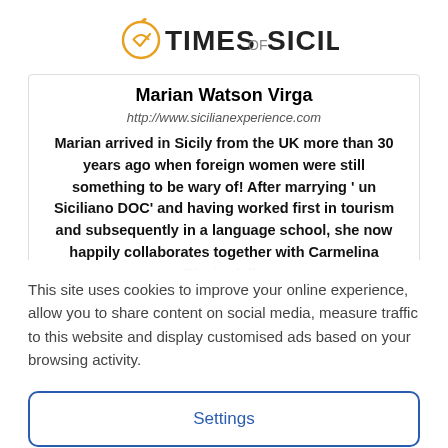[Figure (logo): Times of Sicily logo with orange circle icon and bold text]
Marian Watson Virga
http://www.sicilianexperience.com
Marian arrived in Sicily from the UK more than 30 years ago when foreign women were still something to be wary of! After marrying ' un Siciliano DOC' and having worked first in tourism and subsequently in a language school, she now happily collaborates together with Carmelina Ricciardello
This site uses cookies to improve your online experience, allow you to share content on social media, measure traffic to this website and display customised ads based on your browsing activity.
Settings
Accept